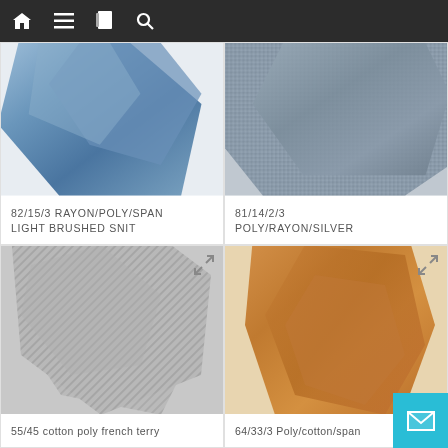Navigation bar with home, menu, book, and search icons
[Figure (photo): Blue brushed fabric swatches folded, shown from above, partially cropped at top]
82/15/3 RAYON/POLY/SPAN LIGHT BRUSHED SNIT
[Figure (photo): Grey/silver knit fabric folded, shown from above, partially cropped at top]
81/14/2/3 POLY/RAYON/SILVER
[Figure (photo): Grey textured fabric swatches with diagonal ribbing pattern, folded and overlapping]
55/45 cotton poly french terry
[Figure (photo): Brown/caramel soft fabric swatch folded, on white background]
64/33/3 Poly/cotton/span